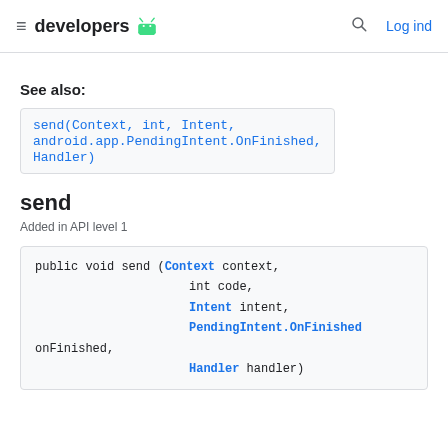developers (android logo) | Log ind
See also:
send(Context, int, Intent, android.app.PendingIntent.OnFinished, Handler)
send
Added in API level 1
public void send (Context context,
                  int code,
                  Intent intent,
                  PendingIntent.OnFinished onFinished,
                  Handler handler)